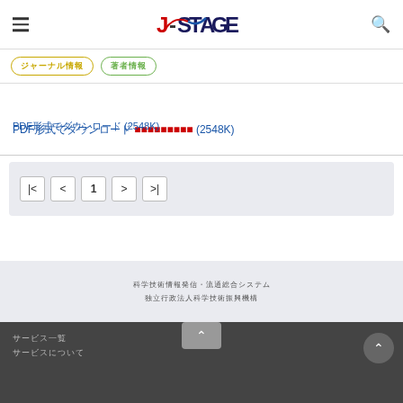J-STAGE
PDF形式でダウンロード (2548K)
|< < 1 > >|
科学技術情報発信・流通総合システム
独立行政法人科学技術振興機構
サービス一覧
サービスについて